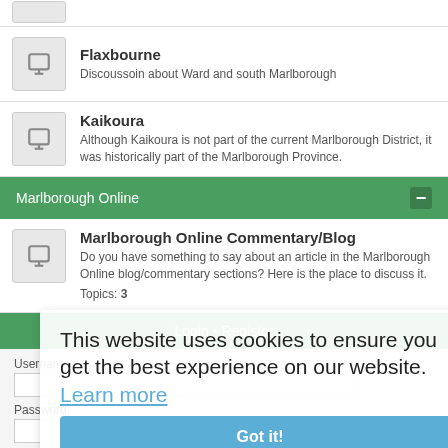Flaxbourne — Discoussoin about Ward and south Marlborough
Kaikoura — Although Kaikoura is not part of the current Marlborough District, it was historically part of the Marlborough Province.
Marlborough Online
Marlborough Online Commentary/Blog — Do you have something to say about an article in the Marlborough Online blog/commentary sections? Here is the place to discuss it. Topics: 3
Login • Register
Username:
Password:
I forgot my password
Remember me
Login
This website uses cookies to ensure you get the best experience on our website. Learn more
Got it!
Who is online
In total there is 1 user online :: 0 registered, 0 hidden and 1 guest (based on users active